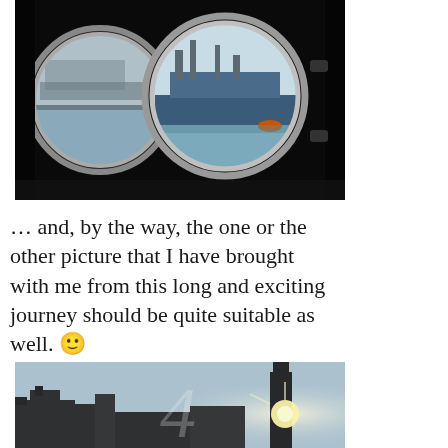[Figure (photo): Dark interior view through two circular porthole windows showing a harbor with a large cargo ship, cranes, and water. Left porthole is partially cut off; right porthole shows a clear view of the blue-gray harbor scene.]
… and, by the way, the one or the other picture that I have brought with me from this long and exciting journey should be quite suitable as well. 🙂
[Figure (photo): Outdoor cityscape photo with silhouette of buildings and a church tower against a bright sky with lens flare. A transparent overlay with a large numeral '4' is visible.]